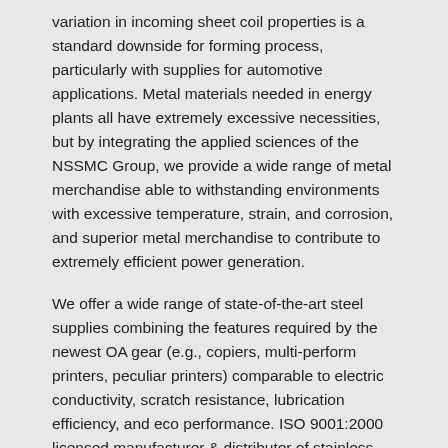variation in incoming sheet coil properties is a standard downside for forming process, particularly with supplies for automotive applications. Metal materials needed in energy plants all have extremely excessive necessities, but by integrating the applied sciences of the NSSMC Group, we provide a wide range of metal merchandise able to withstanding environments with excessive temperature, strain, and corrosion, and superior metal merchandise to contribute to extremely efficient power generation.
We offer a wide range of state-of-the-art steel supplies combining the features required by the newest OA gear (e.g., copiers, multi-perform printers, peculiar printers) comparable to electric conductivity, scratch resistance, lubrication efficiency, and eco performance. ISO 9001:2000 licensed manufacturer & distributor of stainless-steel coils, strips & sheets. Industrial Metallic Provide maintains an enormous stock of metal pipe, with a variety of alloys out there in normal sizes and lengths. Stainless-steel sheets are the costliest, and are combined with